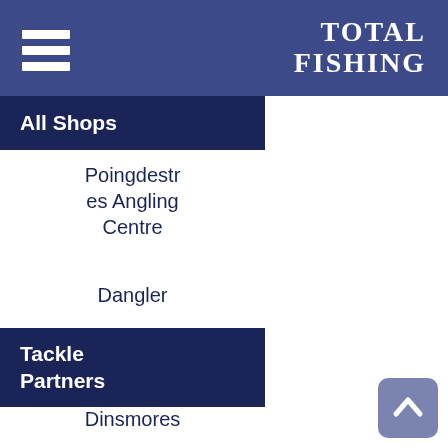TOTAL FISHING
All Shops
Poingdestres Angling Centre
Dangler
Tackle Partners
Dinsmores
Matchbox Tackle
Angling